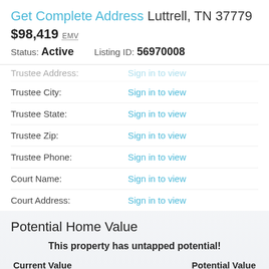Get Complete Address Luttrell, TN 37779
$98,419 EMV
Status: Active   Listing ID: 56970008
Trustee Address: Sign in to view
Trustee City: Sign in to view
Trustee State: Sign in to view
Trustee Zip: Sign in to view
Trustee Phone: Sign in to view
Court Name: Sign in to view
Court Address: Sign in to view
Potential Home Value
This property has untapped potential!
Current Value
Potential Value Sign in to view